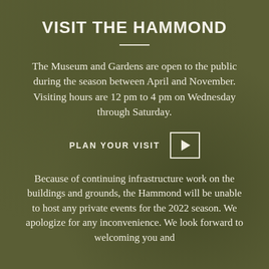VISIT THE HAMMOND
The Museum and Gardens are open to the public during the season between April and November. Visiting hours are 12 pm to 4 pm on Wednesday through Saturday.
PLAN YOUR VISIT ▶
Because of continuing infrastructure work on the buildings and grounds, the Hammond will be unable to host any private events for the 2022 season. We apologize for any inconvenience. We look forward to welcoming you and